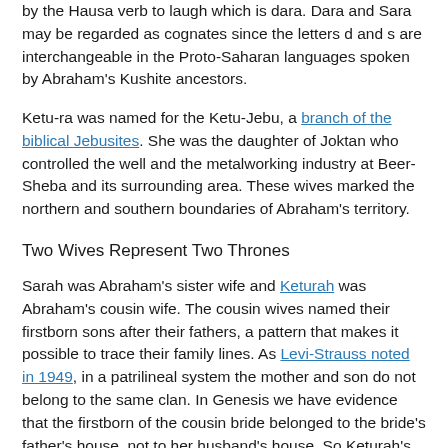by the Hausa verb to laugh which is dara. Dara and Sara may be regarded as cognates since the letters d and s are interchangeable in the Proto-Saharan languages spoken by Abraham's Kushite ancestors.
Ketu-ra was named for the Ketu-Jebu, a branch of the biblical Jebusites. She was the daughter of Joktan who controlled the well and the metalworking industry at Beer-Sheba and its surrounding area. These wives marked the northern and southern boundaries of Abraham's territory.
Two Wives Represent Two Thrones
Sarah was Abraham's sister wife and Keturah was Abraham's cousin wife. The cousin wives named their firstborn sons after their fathers, a pattern that makes it possible to trace their family lines. As Levi-Strauss noted in 1949, in a patrilineal system the mother and son do not belong to the same clan. In Genesis we have evidence that the firstborn of the cousin bride belonged to the bride's father's house, not to her husband's house. So Keturah's firstborn ascended to the throne of his maternal grandfather